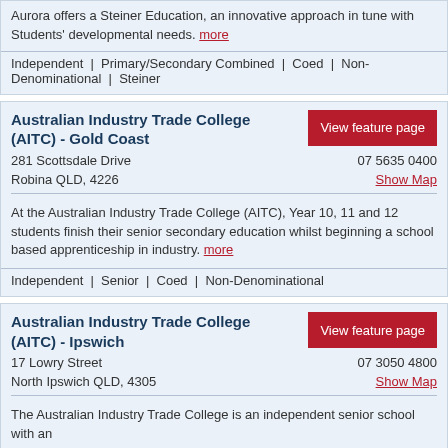Aurora offers a Steiner Education, an innovative approach in tune with Students' developmental needs. more
Independent | Primary/Secondary Combined | Coed | Non-Denominational | Steiner
Australian Industry Trade College (AITC) - Gold Coast
281 Scottsdale Drive
07 5635 0400
Robina QLD, 4226
Show Map
At the Australian Industry Trade College (AITC), Year 10, 11 and 12 students finish their senior secondary education whilst beginning a school based apprenticeship in industry. more
Independent | Senior | Coed | Non-Denominational
Australian Industry Trade College (AITC) - Ipswich
17 Lowry Street
07 3050 4800
North Ipswich QLD, 4305
Show Map
The Australian Industry Trade College is an independent senior school with an